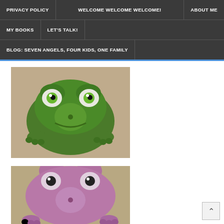PRIVACY POLICY | WELCOME WELCOME WELCOME! | ABOUT ME | MY BOOKS | LET'S TALK! | BLOG: SEVEN ANGELS, FOUR KIDS, ONE FAMILY
[Figure (photo): A green rubber frog toy viewed from above, with large cartoonish white eyes with green pupils, sitting on a beige/tan surface]
[Figure (photo): A purple/pink rubber frog toy viewed from above, partially visible, sitting on a similar beige/tan surface]